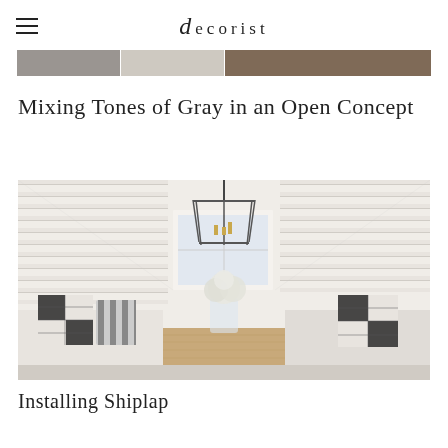decorist
[Figure (photo): Horizontal color strip showing three paint swatches: dark gray, light taupe/cream, and dark brown]
Mixing Tones of Gray in an Open Concept
[Figure (photo): Interior dining nook with shiplap white walls, a black metal cage pendant lantern, a wooden table with a glass vase of white hydrangeas, and built-in bench seating with black and white buffalo check pillows]
Installing Shiplap